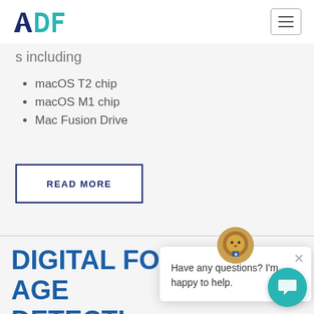ADF
s including
macOS T2 chip
macOS M1 chip
Mac Fusion Drive
READ MORE
DIGITAL FORENSIC AGE DETECTION AND FACIAL ANALYSIS
Have any questions? I'm happy to help.